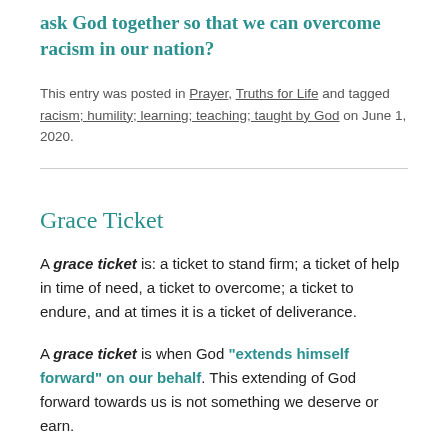ask God together so that we can overcome racism in our nation?
This entry was posted in Prayer, Truths for Life and tagged racism; humility; learning; teaching; taught by God on June 1, 2020.
Grace Ticket
A grace ticket is: a ticket to stand firm; a ticket of help in time of need, a ticket to overcome; a ticket to endure, and at times it is a ticket of deliverance.
A grace ticket is when God "extends himself forward" on our behalf. This extending of God forward towards us is not something we deserve or earn.